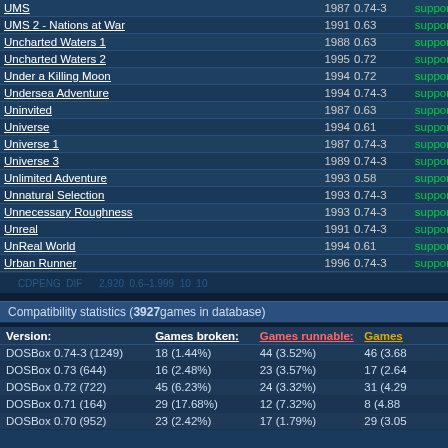| Game | Year | Ver | Status | Bar |
| --- | --- | --- | --- | --- |
| UMS | 1987 | 0.74-3 | supported |  |
| UMS 2 - Nations at War | 1991 | 0.63 | supported |  |
| Uncharted Waters 1 | 1988 | 0.63 | supported |  |
| Uncharted Waters 2 | 1995 | 0.72 | supported |  |
| Under a Killing Moon | 1994 | 0.72 | supported |  |
| Undersea Adventure | 1994 | 0.74-3 | supported |  |
| Uninvited | 1987 | 0.63 | supported |  |
| Universe | 1994 | 0.61 | supported |  |
| Universe 1 | 1987 | 0.74-3 | supported |  |
| Universe 3 | 1989 | 0.74-3 | supported |  |
| Unlimited Adventure | 1993 | 0.58 | supported |  |
| Unnatural Selection | 1993 | 0.74-3 | supported |  |
| Unnecessary Roughness | 1993 | 0.74-3 | supported |  |
| Unreal | 1991 | 0.74-3 | supported |  |
| UnReal World | 1994 | 0.61 | supported |  |
| Urban Runner | 1996 | 0.74-3 | supported |  |
| URBAN: The Cyborg Project | 1999 | 0.74-3 | supported |  |
| Uridium | 1986 | 0.61 | supported |  |
| Urthwurm | 2002 | 0.65 | supported |  |
| USM 2 | 1996 | 0.74-3 | supported |  |
| Utopia | 1992 | 0.73 | supported |  |
CDPENG DIF 2,920 0.6-1.999 10 10
Compatibility statistics (3927 games in database)
| Version: | Games broken: | Games runnable: | Games |
| --- | --- | --- | --- |
| DOSBox 0.74-3 (1249) | 18 (1.44%) | 44 (3.52%) | 46 (3.68 |
| DOSBox 0.73 (644) | 16 (2.48%) | 23 (3.57%) | 17 (2.64 |
| DOSBox 0.72 (722) | 45 (6.23%) | 24 (3.32%) | 31 (4.29 |
| DOSBox 0.71 (164) | 29 (17.68%) | 12 (7.32%) | 8 (4.88 |
| DOSBox 0.70 (952) | 23 (2.42%) | 17 (1.79%) | 29 (3.05 |